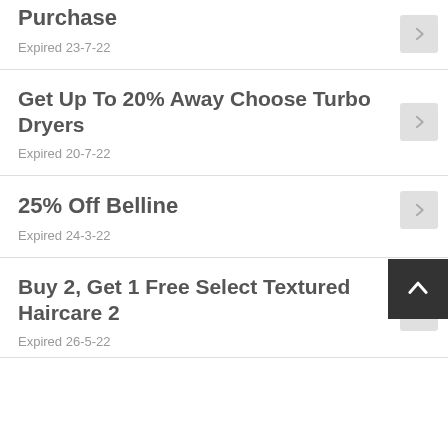Purchase
Expired 23-7-22
Get Up To 20% Away Choose Turbo Dryers
Expired 20-7-22
25% Off Belline
Expired 24-3-22
Buy 2, Get 1 Free Select Textured Haircare 2
Expired 26-5-22